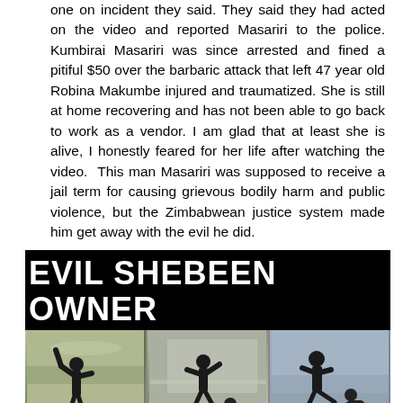one on incident they said. They said they had acted on the video and reported Masariri to the police. Kumbirai Masariri was since arrested and fined a pitiful $50 over the barbaric attack that left 47 year old Robina Makumbe injured and traumatized. She is still at home recovering and has not been able to go back to work as a vendor. I am glad that at least she is alive, I honestly feared for her life after watching the video.  This man Masariri was supposed to receive a jail term for causing grievous bodily harm and public violence, but the Zimbabwean justice system made him get away with the evil he did.
[Figure (photo): A graphic image with large white bold text on black background reading 'EVIL SHEBEEN OWNER', below which is a strip of three photographs showing silhouetted figures in outdoor scenes, appearing to depict an assault.]